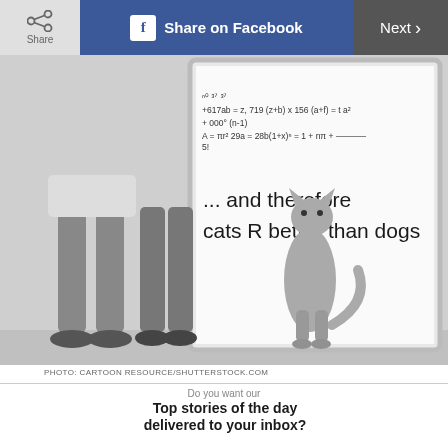Share | Share on Facebook | Next >
[Figure (illustration): Cartoon showing a cat standing next to a person's legs in front of a whiteboard. The whiteboard contains math equations and the text '... and therefore cats R better than dogs']
PHOTO: CARTOON RESOURCE/SHUTTERSTOCK.COM
Do you want our
Top stories of the day delivered to your inbox?
YES PLEASE!
NO THANKS